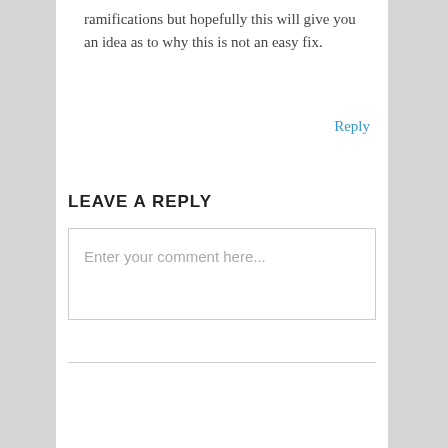ramifications but hopefully this will give you an idea as to why this is not an easy fix.
Reply
LEAVE A REPLY
Enter your comment here...
[Figure (other): Search input field with a blue search button containing a magnifying glass icon]